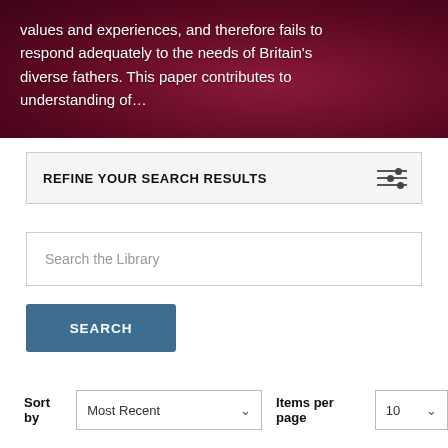values and experiences, and therefore fails to respond adequately to the needs of Britain's diverse fathers. This paper contributes to understanding of…
REFINE YOUR SEARCH RESULTS
Search the Library
SEARCH
Sort by  Most Recent   Items per page  10